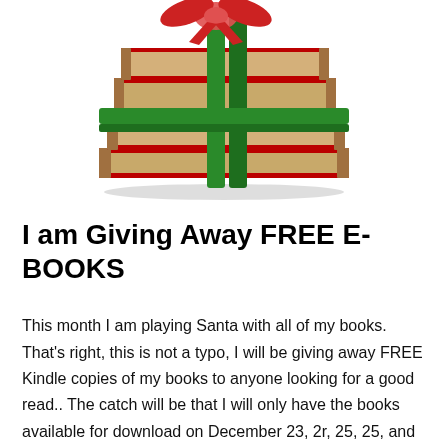[Figure (photo): A stack of books with red covers and beige pages, tied with green ribbon bows, photographed on a white background — a gift-wrapped books image.]
I am Giving Away FREE E-BOOKS
This month I am playing Santa with all of my books. That's right, this is not a typo, I will be giving away FREE Kindle copies of my books to anyone looking for a good read.. The catch will be that I will only have the books available for download on December 23, 2r, 25, 25, and 27 so get